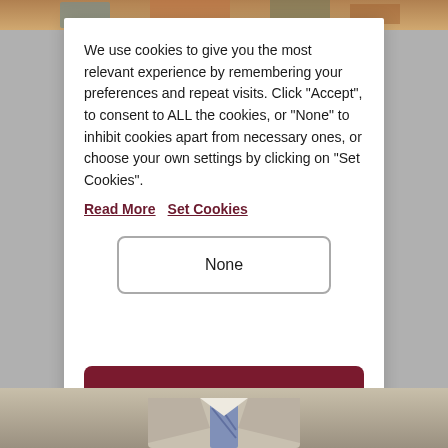[Figure (photo): Top strip: partial photo of a person, colorful background visible at top]
We use cookies to give you the most relevant experience by remembering your preferences and repeat visits. Click “Accept”, to consent to ALL the cookies, or "None" to inhibit cookies apart from necessary ones, or choose your own settings by clicking on "Set Cookies".
Read More   Set Cookies
None
[Figure (photo): Bottom strip: partial photo showing person in light jacket and tie]